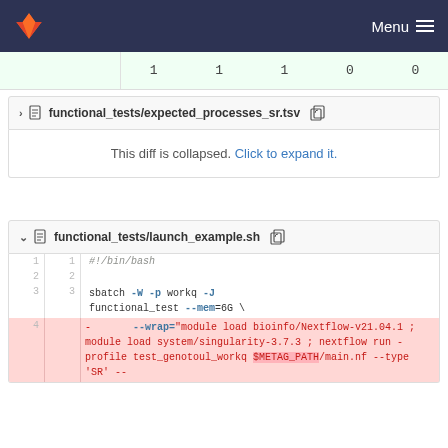Menu
|  | 1 | 1 | 1 | 0 | 0 |
| --- | --- | --- | --- | --- | --- |
functional_tests/expected_processes_sr.tsv
This diff is collapsed. Click to expand it.
functional_tests/launch_example.sh
| old_ln | new_ln | code |
| --- | --- | --- |
| 1 | 1 | #!/bin/bash |
| 2 | 2 |  |
| 3 | 3 | sbatch -W -p workq -J functional_test --mem=6G \ |
| 4 |  | - --wrap="module load bioinfo/Nextflow-v21.04.1 ; module load system/singularity-3.7.3 ; nextflow run -profile test_genotoul_workq $METAG_PATH/main.nf --type 'SR' -- |